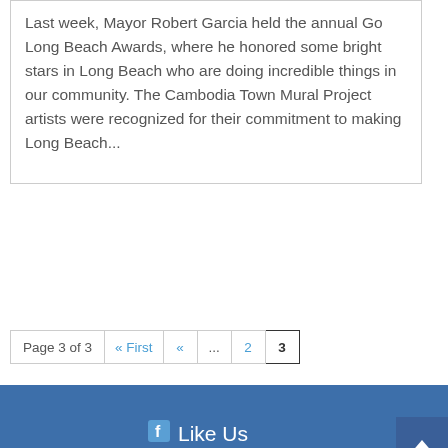Last week, Mayor Robert Garcia held the annual Go Long Beach Awards, where he honored some bright stars in Long Beach who are doing incredible things in our community. The Cambodia Town Mural Project artists were recognized for their commitment to making Long Beach...
Page 3 of 3  « First  «  ...  2  3
Like Us
Follow Us